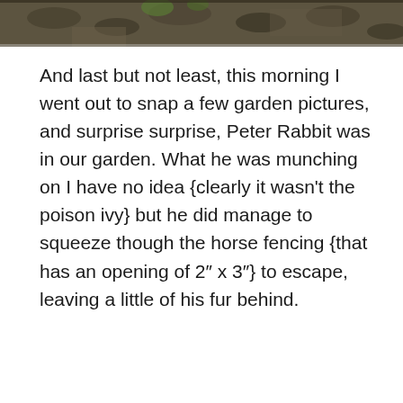[Figure (photo): Partial top image showing garden ground with leaves, soil, and a hint of green plant — cropped at top of page.]
And last but not least, this morning I went out to snap a few garden pictures, and surprise surprise, Peter Rabbit was in our garden. What he was munching on I have no idea {clearly it wasn't the poison ivy} but he did manage to squeeze though the horse fencing {that has an opening of 2″ x 3″} to escape, leaving a little of his fur behind.